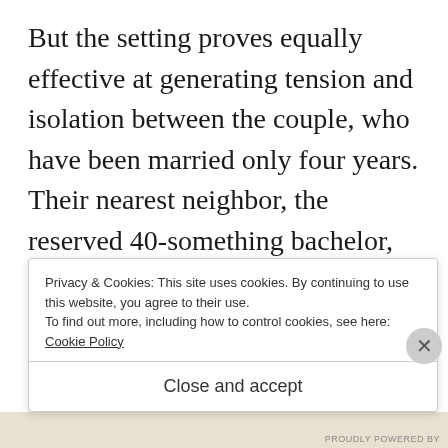But the setting proves equally effective at generating tension and isolation between the couple, who have been married only four years. Their nearest neighbor, the reserved 40-something bachelor, Mr. Stokes, lives a long walk away, across the Gardiners' large rural property and through a small patch of woods. The locals are either overly friendly or taciturn and suspicious
Privacy & Cookies: This site uses cookies. By continuing to use this website, you agree to their use. To find out more, including how to control cookies, see here: Cookie Policy
Close and accept